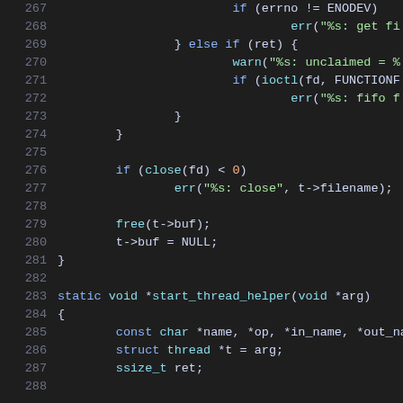Source code listing, lines 267-287, C programming language